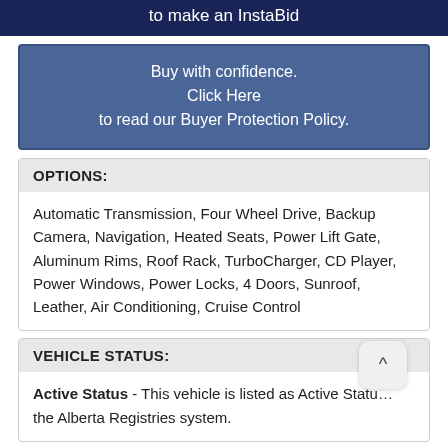to make an InstaBid
Buy with confidence.
Click Here
to read our Buyer Protection Policy.
OPTIONS:
Automatic Transmission, Four Wheel Drive, Backup Camera, Navigation, Heated Seats, Power Lift Gate, Aluminum Rims, Roof Rack, TurboCharger, CD Player, Power Windows, Power Locks, 4 Doors, Sunroof, Leather, Air Conditioning, Cruise Control
VEHICLE STATUS:
Active Status - This vehicle is listed as Active Status in the Alberta Registries system.